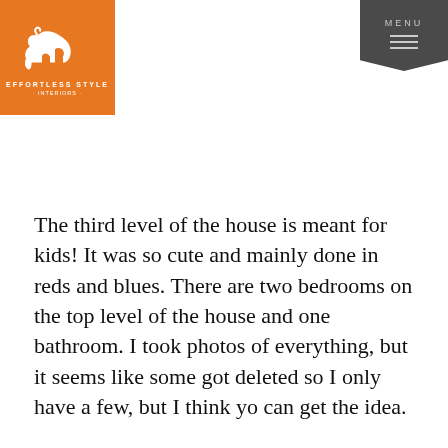Effortless Style Interiors — Logo and Menu
The third level of the house is meant for kids! It was so cute and mainly done in reds and blues. There are two bedrooms on the top level of the house and one bathroom. I took photos of everything, but it seems like some got deleted so I only have a few, but I think yo can get the idea.
The hallway is covered in Star Wars